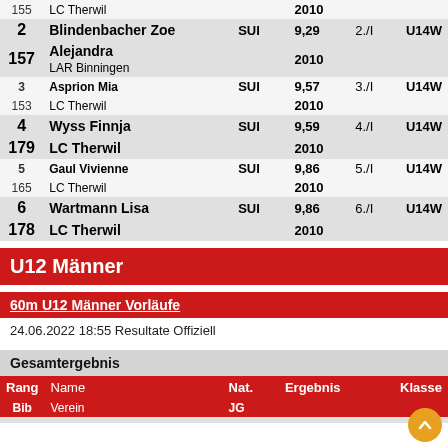| Rang/Bib | Name/Verein | Nat./JG | Ergebnis | Platz | Klasse |
| --- | --- | --- | --- | --- | --- |
| 155 | LC Therwil | 2010 |  |  |  |
| 2 | Blindenbacher Zoe Alejandra | SUI | 9,29 | 2./I | U14W |
| 157 | LAR Binningen | 2010 |  |  |  |
| 3 | Asprion Mia | SUI | 9,57 | 3./I | U14W |
| 153 | LC Therwil | 2010 |  |  |  |
| 4 | Wyss Finnja | SUI | 9,59 | 4./I | U14W |
| 179 | LC Therwil | 2010 |  |  |  |
| 5 | Gaul Vivienne | SUI | 9,86 | 5./I | U14W |
| 165 | LC Therwil | 2010 |  |  |  |
| 6 | Wartmann Lisa | SUI | 9,86 | 6./I | U14W |
| 178 | LC Therwil | 2010 |  |  |  |
U12 Männer
60m U12 Männer Vorläufe
24.06.2022 18:55 Resultate Offiziell
Gesamtergebnis
| Rang | Name | Nat. | Ergebnis |  | Klasse |
| --- | --- | --- | --- | --- | --- |
| Bib | Verein | JG |  |  |  |
| 1 | Schmidlin Tim... | SUI | 9,47 |  | U12M |